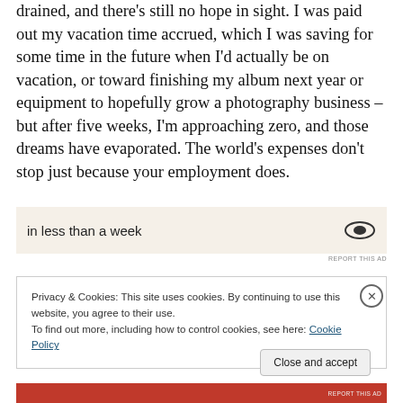drained, and there's still no hope in sight. I was paid out my vacation time accrued, which I was saving for some time in the future when I'd actually be on vacation, or toward finishing my album next year or equipment to hopefully grow a photography business – but after five weeks, I'm approaching zero, and those dreams have evaporated. The world's expenses don't stop just because your employment does.
[Figure (other): Advertisement banner with text 'in less than a week' on a beige background with a logo icon on the right]
REPORT THIS AD
Privacy & Cookies: This site uses cookies. By continuing to use this website, you agree to their use.
To find out more, including how to control cookies, see here: Cookie Policy
Close and accept